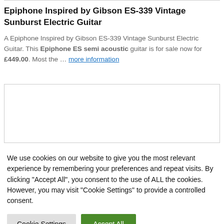Epiphone Inspired by Gibson ES-339 Vintage Sunburst Electric Guitar
A Epiphone Inspired by Gibson ES-339 Vintage Sunburst Electric Guitar. This Epiphone ES semi acoustic guitar is for sale now for £449.00. Most the … more information
[Figure (other): White empty image box with border]
We use cookies on our website to give you the most relevant experience by remembering your preferences and repeat visits. By clicking "Accept All", you consent to the use of ALL the cookies. However, you may visit "Cookie Settings" to provide a controlled consent.